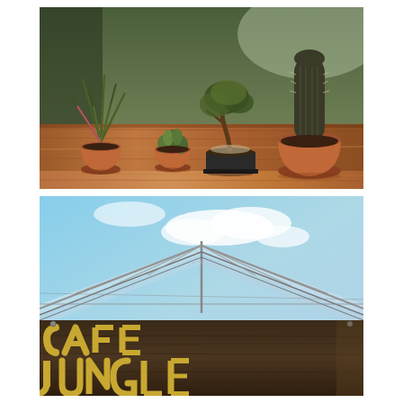[Figure (photo): Four potted plants arranged on a wooden table inside a plant shop or greenhouse. From left to right: a spiky grass-like plant in a terracotta pot, a small succulent in a terracotta pot, a bonsai-style tree in a dark rectangular pot, and a tall cactus in a large terracotta pot. Background shows more greenery.]
[Figure (photo): Upward-looking perspective of a greenhouse glass roof structure against a blue sky with white clouds. In the foreground is a rustic wooden sign with bold yellow painted letters reading 'CAFE JUNGLE'.]